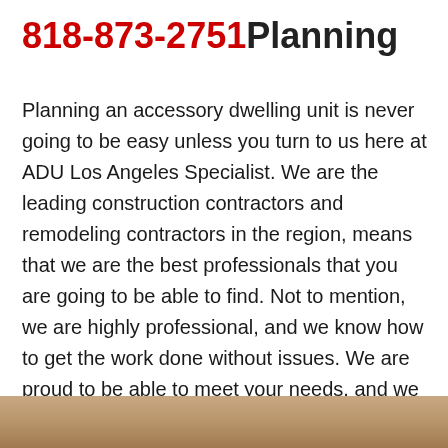818-873-2751 Planning
Planning an accessory dwelling unit is never going to be easy unless you turn to us here at ADU Los Angeles Specialist. We are the leading construction contractors and remodeling contractors in the region, means that we are the best professionals that you are going to be able to find. Not to mention, we are highly professional, and we know how to get the work done without issues. We are proud to be able to meet your needs, and we are ready to get planning on the perfect ADU for you and your needs.
[Figure (photo): Partial photo strip visible at the bottom of the page, appears to show construction or home-related imagery in warm brown/tan tones.]